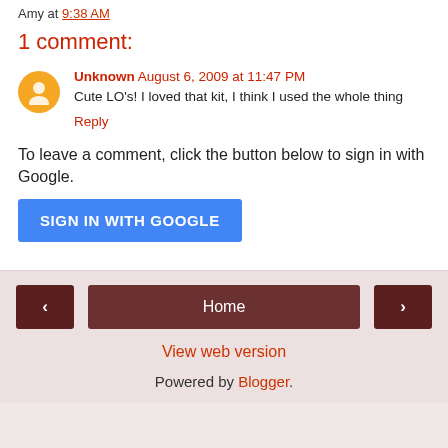Amy at 9:38 AM
1 comment:
Unknown August 6, 2009 at 11:47 PM
Cute LO's! I loved that kit, I think I used the whole thing
Reply
To leave a comment, click the button below to sign in with Google.
SIGN IN WITH GOOGLE
Home
View web version
Powered by Blogger.